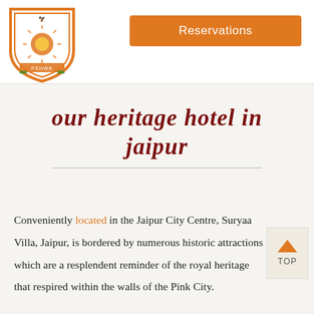[Figure (logo): Hotel Pehwa shield/crest logo with orange border, sun emblem in center, decorative birds and banner with PEHWA text]
Reservations
our heritage hotel in jaipur
Conveniently located in the Jaipur City Centre, Suryaa Villa, Jaipur, is bordered by numerous historic attractions which are a resplendent reminder of the royal heritage that respired within the walls of the Pink City.